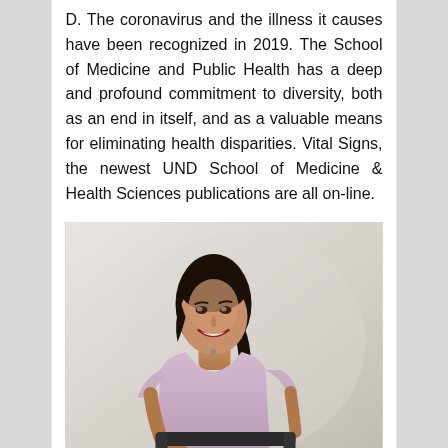D. The coronavirus and the illness it causes have been recognized in 2019. The School of Medicine and Public Health has a deep and profound commitment to diversity, both as an end in itself, and as a valuable means for eliminating health disparities. Vital Signs, the newest UND School of Medicine & Health Sciences publications are all on-line.
[Figure (photo): A smiling woman with dark hair pulled back, wearing a light purple/lavender short-sleeve top, holding the handlebars of exercise equipment, photographed against a light grey background.]